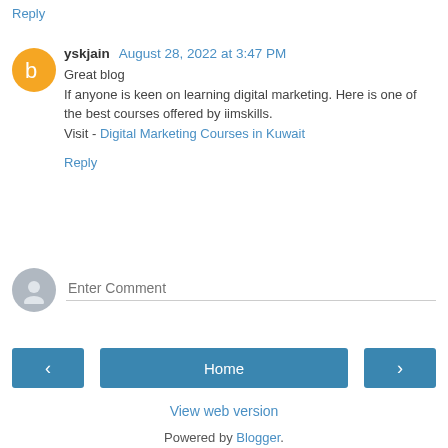Reply
yskjain August 28, 2022 at 3:47 PM
Great blog
If anyone is keen on learning digital marketing. Here is one of the best courses offered by iimskills.
Visit - Digital Marketing Courses in Kuwait
Reply
Enter Comment
< Home >
View web version
Powered by Blogger.